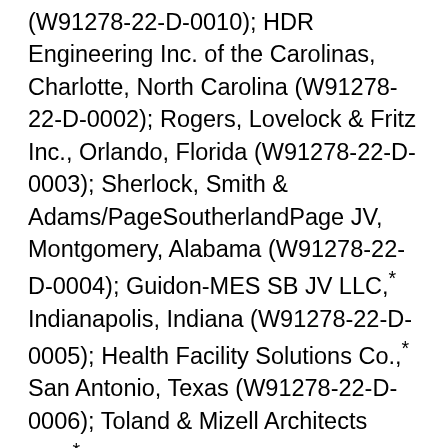(W91278-22-D-0010); HDR Engineering Inc. of the Carolinas, Charlotte, North Carolina (W91278-22-D-0002); Rogers, Lovelock & Fritz Inc., Orlando, Florida (W91278-22-D-0003); Sherlock, Smith & Adams/PageSoutherlandPage JV, Montgomery, Alabama (W91278-22-D-0004); Guidon-MES SB JV LLC,* Indianapolis, Indiana (W91278-22-D-0005); Health Facility Solutions Co.,* San Antonio, Texas (W91278-22-D-0006); Toland & Mizell Architects Inc.,* Atlanta, Georgia (W91278-22-D-0007); Alliance WSP JV LLC,* Alexandria, Virginia (W91278-22-D-0008); AECOM Technical Services, Roanoke, Virginia (W91278-22-D-0001); and Guidon-MES SB JV LLC, Indianapolis,* Indiana (W91278-22-D-0009)